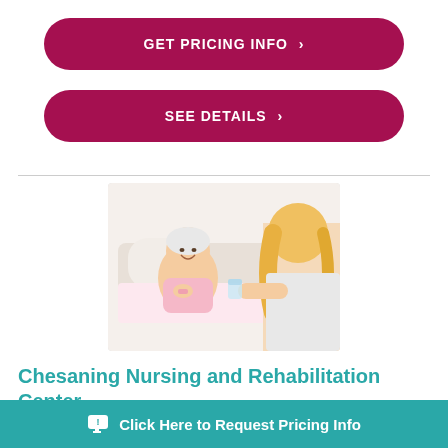GET PRICING INFO ›
SEE DETAILS ›
[Figure (photo): A smiling elderly woman sitting up in a hospital bed being attended to by a blonde nurse/caregiver who is handing her a glass of water]
Chesaning Nursing and Rehabilitation Center
201 S Front St
Click Here to Request Pricing Info